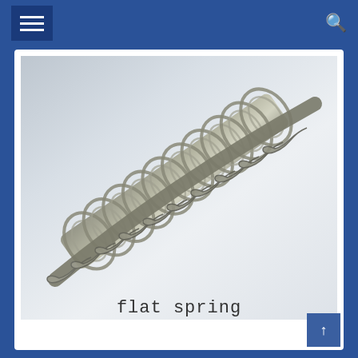[Figure (photo): Close-up photograph of a flat spring — a coiled metal spring with flat interlocking coils wound around a central threaded rod or shaft, photographed diagonally on a white background.]
flat spring